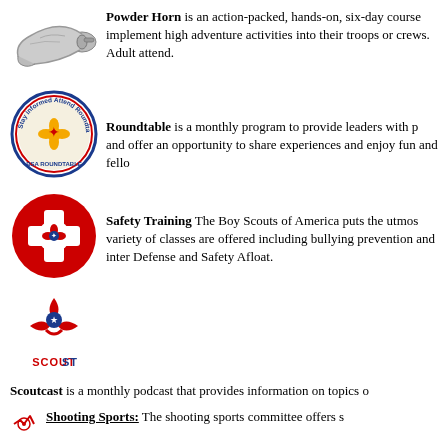[Figure (logo): Powder Horn icon - a powder horn/flask shape in silver/gray]
Powder Horn is an action-packed, hands-on, six-day course implement high adventure activities into their troops or crews. Adult attend.
[Figure (logo): Boy Scouts Roundtable circular badge with scout emblem and text 'Stay Informed Attend Roundtable']
Roundtable is a monthly program to provide leaders with p and offer an opportunity to share experiences and enjoy fun and fello
[Figure (logo): Safety Training - red circle with white cross and BSA emblem in center]
Safety Training The Boy Scouts of America puts the utmos variety of classes are offered including bullying prevention and inter Defense and Safety Afloat.
[Figure (logo): Scoutcast logo with BSA fleur-de-lis scout symbol and text SCOUTCAST below]
Scoutcast is a monthly podcast that provides information on topics o
[Figure (logo): Shooting Sports small icon]
Shooting Sports: The shooting sports committee offers s